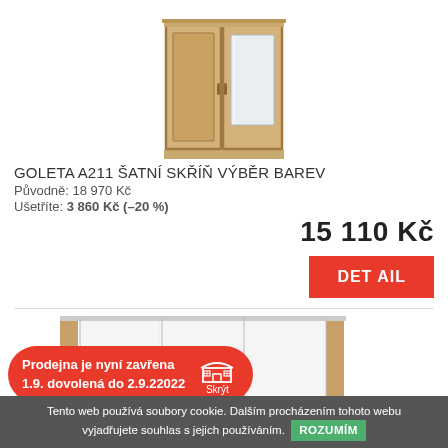[Figure (photo): Product photo of GOLETA A211 wardrobe — wooden two-door wardrobe with one mirrored door, light oak finish]
GOLETA A211 ŠATNÍ SKŘÍŇ VÝBĚR BAREV
Původně: 18 970 Kč
Ušetříte: 3 860 Kč (–20 %)
15 110 Kč
DETAIL
[Figure (photo): Second product photo showing a sliding door wardrobe with white and wood panels]
Prodejna je nyní zavřena
1.9. dovolená do 2.9.22022
Skrýt
Tento web používá soubory cookie. Dalším procházením tohoto webu vyjadřujete souhlas s jejich používáním. ROZUMÍM